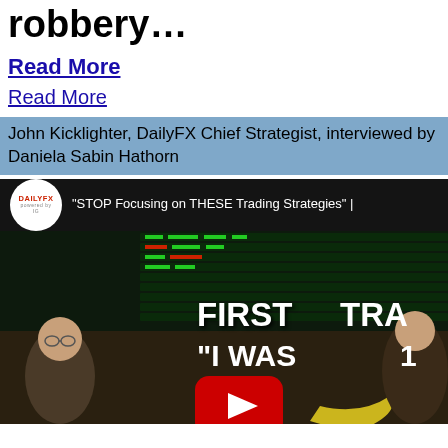robbery...
Read More
Read More
John Kicklighter, DailyFX Chief Strategist, interviewed by Daniela Sabin Hathorn
[Figure (screenshot): DailyFX YouTube video thumbnail showing 'STOP Focusing on THESE Trading Strategies' with overlaid text 'FIRST TRA...' and '"I WAS 1...' over a trading floor background image with a YouTube play button.]